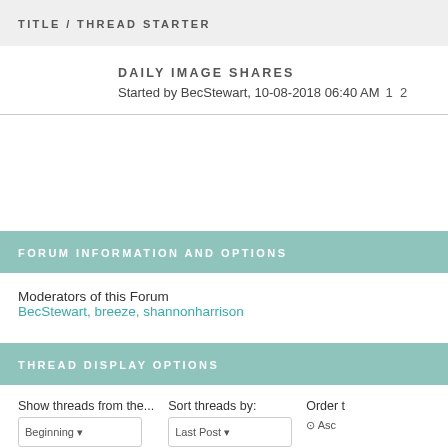TITLE / THREAD STARTER
DAILY IMAGE SHARES
Started by BecStewart, 10-08-2018 06:40 AM  1  2
FORUM INFORMATION AND OPTIONS
Moderators of this Forum
BecStewart, breeze, shannonharrison
THREAD DISPLAY OPTIONS
Show threads from the...
Sort threads by:
Order t